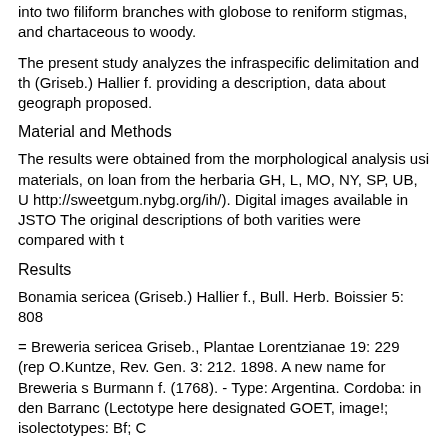into two filiform branches with globose to reniform stigmas, and chartaceous to woody.
The present study analyzes the infraspecific delimitation and th (Griseb.) Hallier f. providing a description, data about geograph proposed.
Material and Methods
The results were obtained from the morphological analysis usi materials, on loan from the herbaria GH, L, MO, NY, SP, UB, U http://sweetgum.nybg.org/ih/). Digital images available in JSTO The original descriptions of both varities were compared with t
Results
Bonamia sericea (Griseb.) Hallier f., Bull. Herb. Boissier 5: 808
= Breweria sericea Griseb., Plantae Lorentzianae 19: 229 (rep O.Kuntze, Rev. Gen. 3: 212. 1898. A new name for Breweria s Burmann f. (1768). - Type: Argentina. Cordoba: in den Barranc (Lectotype here designated GOET, image!; isolectotypes: Bf; C
= Bonamia sericea var. latifolia O’Donell, Lilloa 29: 314. 1959. Palomar a Pampa Poza, 15 Nov. 1931, Schreiter 6706 (holotyp (Fig. 3)
Caespitose shrubs; stems erect or procumbent, woody basall